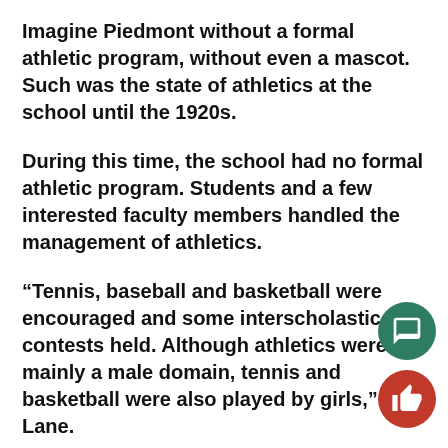Imagine Piedmont without a formal athletic program, without even a mascot. Such was the state of athletics at the school until the 1920s.
During this time, the school had no formal athletic program. Students and a few interested faculty members handled the management of athletics.
“Tennis, baseball and basketball were encouraged and some interscholastic contests held. Although athletics were mainly a male domain, tennis and basketball were also played by girls,” said Lane.
Adjacent to the girls’ dorm was the tennis court set aside for the girls.
In December of 1909, the girls submitted a